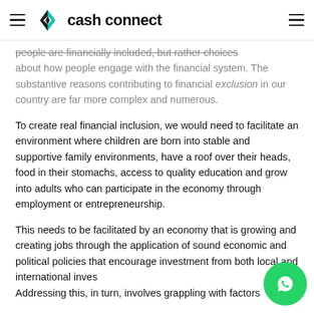cash connect
people are financially included, but rather choices about how people engage with the financial system. The substantive reasons contributing to financial exclusion in our country are far more complex and numerous.
To create real financial inclusion, we would need to facilitate an environment where children are born into stable and supportive family environments, have a roof over their heads, food in their stomachs, access to quality education and grow into adults who can participate in the economy through employment or entrepreneurship.
This needs to be facilitated by an economy that is growing and creating jobs through the application of sound economic and political policies that encourage investment from both local and international inves... Addressing this, in turn, involves grappling with factors